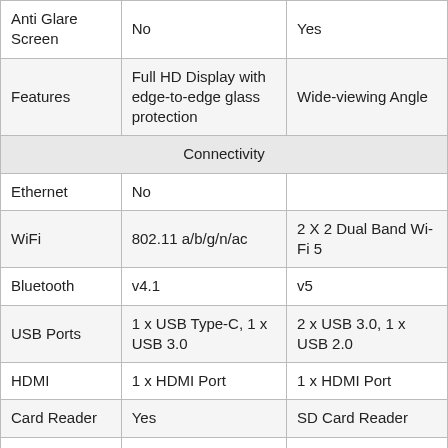|  | Column 1 | Column 2 |
| --- | --- | --- |
| Anti Glare Screen | No | Yes |
| Features | Full HD Display with edge-to-edge glass protection | Wide-viewing Angle |
| Connectivity |  |  |
| Ethernet | No |  |
| WiFi | 802.11 a/b/g/n/ac | 2 X 2 Dual Band Wi-Fi 5 |
| Bluetooth | v4.1 | v5 |
| USB Ports | 1 x USB Type-C, 1 x USB 3.0 | 2 x USB 3.0, 1 x USB 2.0 |
| HDMI | 1 x HDMI Port | 1 x HDMI Port |
| Card Reader | Yes | SD Card Reader |
| Microphone In | Yes | Yes |
| Headphone Jack | Yes | Yes |
| Security Lock |  |  |